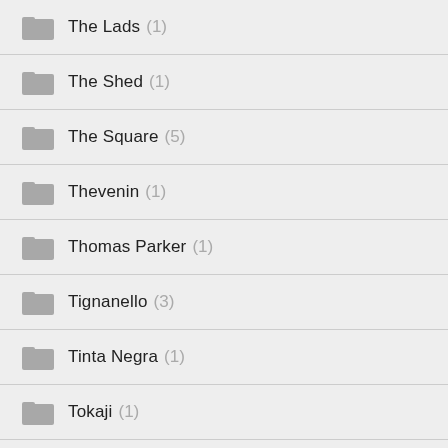The Lads (1)
The Shed (1)
The Square (5)
Thevenin (1)
Thomas Parker (1)
Tignanello (3)
Tinta Negra (1)
Tokaji (1)
Tollot-Beaut (2)
Toros (1)